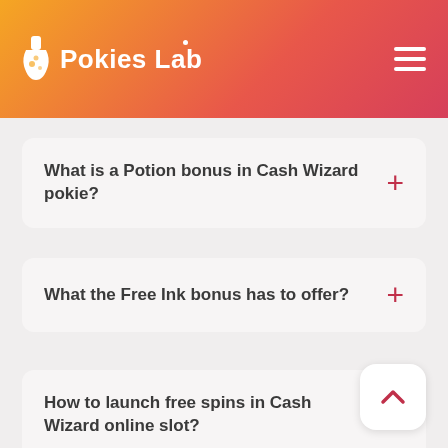Pokies Lab
What is a Potion bonus in Cash Wizard pokie?
What the Free Ink bonus has to offer?
How to launch free spins in Cash Wizard online slot?